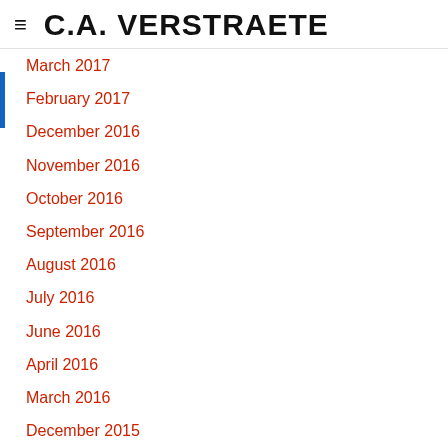C.A. VERSTRAETE
March 2017
February 2017
December 2016
November 2016
October 2016
September 2016
August 2016
July 2016
June 2016
April 2016
March 2016
December 2015
November 2015
October 2015
July 2015
May 2015
April 2015
March 2015